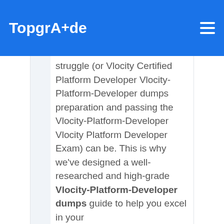TopgrAde
struggle (or Vlocity Certified Platform Developer Vlocity-Platform-Developer dumps preparation and passing the Vlocity-Platform-Developer Vlocity Platform Developer Exam) can be. This is why we've designed a well-researched and high-grade Vlocity-Platform-Developer dumps guide to help you excel in your